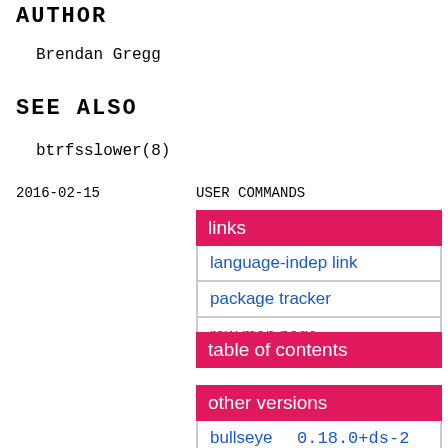AUTHOR
Brendan Gregg
SEE ALSO
btrfsslower(8)
2016-02-15    USER COMMANDS
links
language-indep link
package tracker
raw man page
table of contents
other versions
bullseye    0.18.0+ds-2